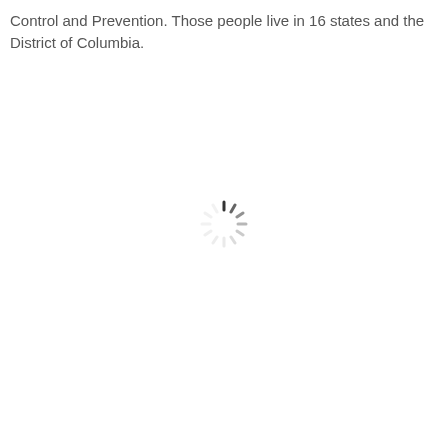Control and Prevention. Those people live in 16 states and the District of Columbia.
[Figure (other): A loading spinner icon (circular dashed spinner) centered on the page, indicating content is loading.]